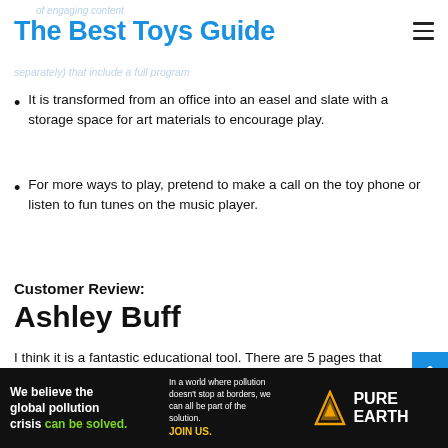The Best Toys Guide
of engaging content
separately) that include a full program
It is transformed from an office into an easel and slate with a storage space for art materials to encourage play.
For more ways to play, pretend to make a call on the toy phone or listen to fun tunes on the music player.
Customer Review:
Ashley Buff
I think it is a fantastic educational tool. There are 5 pages that you can interact with, and different modes like music or sea
[Figure (infographic): Pure Earth advertisement banner: 'We believe the global pollution crisis can be solved. In a world where pollution doesn't stop at borders, we can all be part of the solution. JOIN US.' with Pure Earth logo]